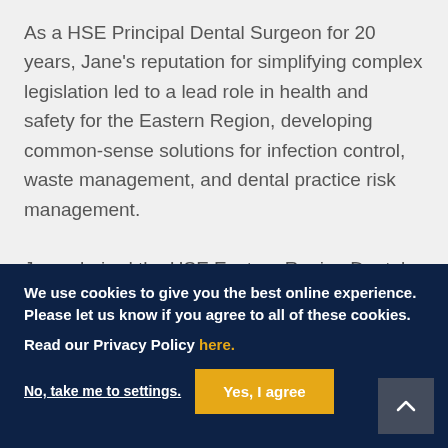As a HSE Principal Dental Surgeon for 20 years, Jane's reputation for simplifying complex legislation led to a lead role in health and safety for the Eastern Region, developing common-sense solutions for infection control, waste management, and dental practice risk management.
Jane chaired the HSE Eastern Region Dental Radiation
We use cookies to give you the best online experience. Please let us know if you agree to all of these cookies.
Read our Privacy Policy here.